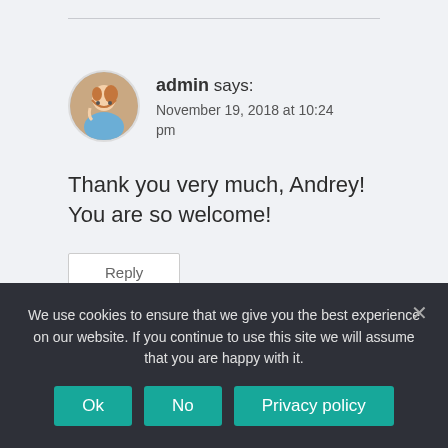admin says: November 19, 2018 at 10:24 pm
Thank you very much, Andrey! You are so welcome!
Reply
We use cookies to ensure that we give you the best experience on our website. If you continue to use this site we will assume that you are happy with it.
Ok
No
Privacy policy